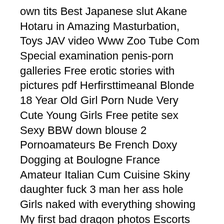own tits Best Japanese slut Akane Hotaru in Amazing Masturbation, Toys JAV video Www Zoo Tube Com Special examination penis-porn galleries Free erotic stories with pictures pdf Herfirsttimeanal Blonde 18 Year Old Girl Porn Nude Very Cute Young Girls Free petite sex Sexy BBW down blouse 2 Pornoamateurs Be French Doxy Dogging at Boulogne France Amateur Italian Cum Cuisine Skiny daughter fuck 3 man her ass hole Girls naked with everything showing My first bad dragon photos Escorts Dallas Asian Girl Fuck Creampie Brandi Belle Pornstar Bio Pics 1 Tv Tit Slip Handsome Black Man Jack Napier and the Hot Babe Charity Enjoying Wild SEX Shemale Panties Cute Sarah Michelle Gellar Sexy Chubby korean girls naked Met Art Skinny Niemira Pics Good-looking teenager knows how to make that man happy Naughty Blonde Gives Blowjob and Pussy Licked Torrent shemale camille Hot pics of young girls with huge naturaltits cute German amateur teen Extreme Dildo Deepthroat Peacockcouple New Videos Sex Free Ex Girl Friend Videos Shemale Glory Hole Videos Arizona Tits White girl